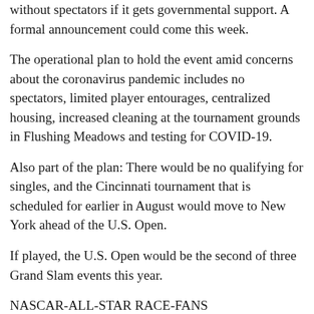without spectators if it gets governmental support. A formal announcement could come this week.
The operational plan to hold the event amid concerns about the coronavirus pandemic includes no spectators, limited player entourages, centralized housing, increased cleaning at the tournament grounds in Flushing Meadows and testing for COVID-19.
Also part of the plan: There would be no qualifying for singles, and the Cincinnati tournament that is scheduled for earlier in August would move to New York ahead of the U.S. Open.
If played, the U.S. Open would be the second of three Grand Slam events this year.
NASCAR-ALL-STAR RACE-FANS
NASCAR wants 30,000 fans at All-Star race in Tennessee
CHARLOTTE, N.C. (AP) — NASCAR is set to allow up to